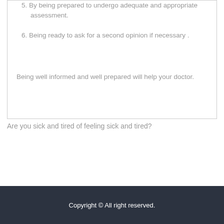5. By being prepared to undergo adequate and appropriate assessment.
6. Being ready to ask for a second opinion if necessary .
Being well informed and well prepared will help your doctor.
Are you sick and tired of feeling sick and tired?
Copyright © All right reserved.